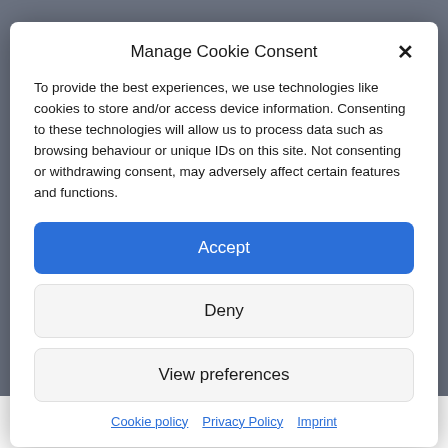Manage Cookie Consent
To provide the best experiences, we use technologies like cookies to store and/or access device information. Consenting to these technologies will allow us to process data such as browsing behaviour or unique IDs on this site. Not consenting or withdrawing consent, may adversely affect certain features and functions.
Accept
Deny
View preferences
Cookie policy   Privacy Policy   Imprint
GLOBAL IP